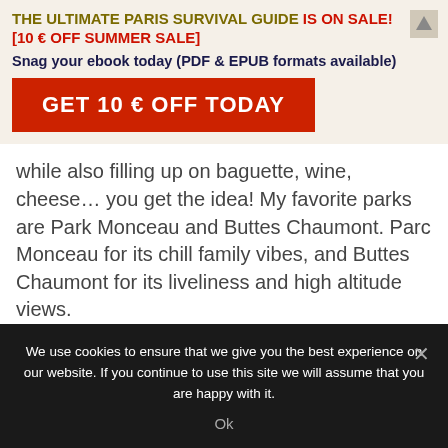THE ULTIMATE PARIS SURVIVAL GUIDE IS ON SALE! [10 € OFF SUMMER SALE]
Snag your ebook today (PDF & EPUB formats available)
GET 10 € OFF TODAY
while also filling up on baguette, wine, cheese… you get the idea! My favorite parks are Park Monceau and Buttes Chaumont. Parc Monceau for its chill family vibes, and Buttes Chaumont for its liveliness and high altitude views.
We use cookies to ensure that we give you the best experience on our website. If you continue to use this site we will assume that you are happy with it.
Ok